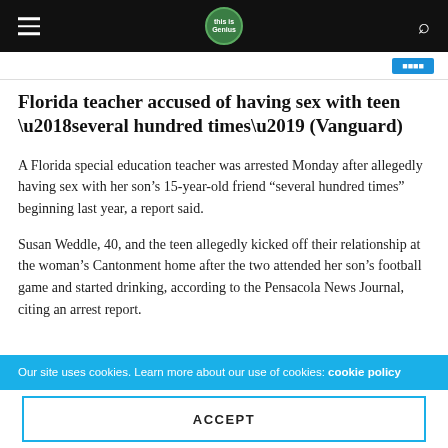This is Genius [logo]
Florida teacher accused of having sex with teen ‘several hundred times’ (Vanguard)
A Florida special education teacher was arrested Monday after allegedly having sex with her son’s 15-year-old friend “several hundred times” beginning last year, a report said.
Susan Weddle, 40, and the teen allegedly kicked off their relationship at the woman’s Cantonment home after the two attended her son’s football game and started drinking, according to the Pensacola News Journal, citing an arrest report.
Our site uses cookies. Learn more about our use of cookies: cookie policy
ACCEPT